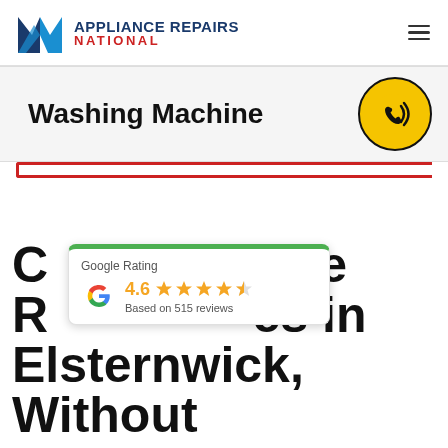[Figure (logo): Appliance Repairs National logo with stylized N icon and blue/red text]
Washing Machine
[Figure (illustration): Yellow circular phone call icon on dark background]
Cambridge Fridge Repairs Services in Elsternwick, Without
[Figure (infographic): Google Rating card showing 4.6 stars based on 515 reviews]